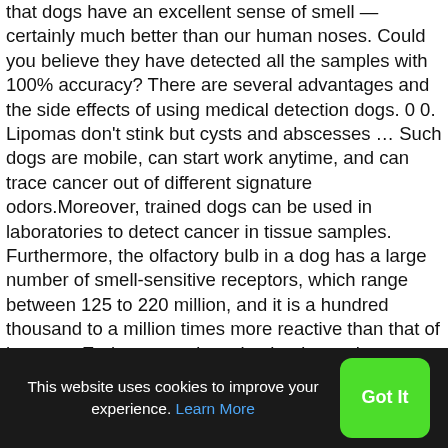that dogs have an excellent sense of smell — certainly much better than our human noses. Could you believe they have detected all the samples with 100% accuracy? There are several advantages and the side effects of using medical detection dogs. 0 0. Lipomas don't stink but cysts and abscesses … Such dogs are mobile, can start work anytime, and can trace cancer out of different signature odors.Moreover, trained dogs can be used in laboratories to detect cancer in tissue samples. Furthermore, the olfactory bulb in a dog has a large number of smell-sensitive receptors, which range between 125 to 220 million, and it is a hundred thousand to a million times more reactive than that of humans. Early cancer detection leads to a better success rate for a cure. New research presented at the American Society for Biochemistry and Molecular Biology's annual meeting in Orlando, Florida, suggests that dog's highly evolved sense of smell can identify cancer … However, humans do not pick up
This website uses cookies to improve your experience. Learn More